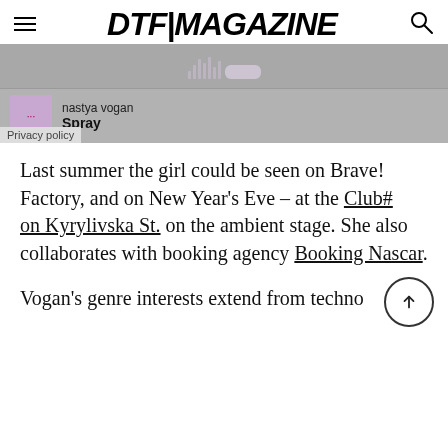DTF|MAGAZINE
[Figure (screenshot): Music player widget showing a waveform and track info: artist 'nastya vogan', track title 'Spray'. Has a Privacy policy label.]
Last summer the girl could be seen on Brave! Factory, and on New Year's Eve – at the Club# on Kyrylivska St. on the ambient stage. She also collaborates with booking agency Booking Nascar.
Vogan's genre interests extend from techno to IDM, from ambient to breakbeat...